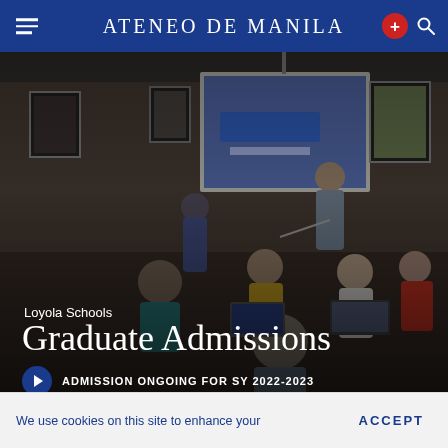ATENEO DE MANILA
[Figure (photo): Classroom scene showing students seated at desks with laptops and a presenter standing near a projection screen showing a presentation slide. The room is dimly lit with framed pictures on the walls.]
Loyola Schools
Graduate Admissions
ADMISSION ONGOING FOR SY 2022-2023
We use cookies on this site to enhance your
ACCEPT